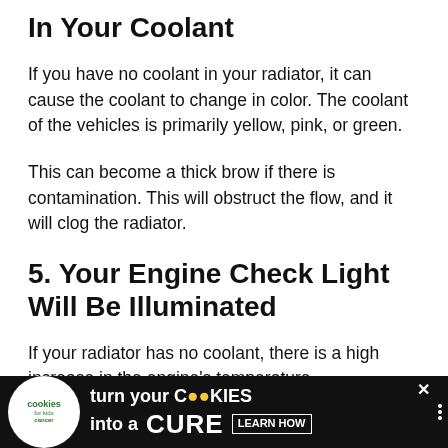In Your Coolant
If you have no coolant in your radiator, it can cause the coolant to change in color. The coolant of the vehicles is primarily yellow, pink, or green.
This can become a thick brow if there is contamination. This will obstruct the flow, and it will clog the radiator.
5. Your Engine Check Light Will Be Illuminated
If your radiator has no coolant, there is a high increase in the engine's temperature,
[Figure (other): Advertisement banner: 'cookies for kids cancer — turn your COOKIES into a CURE LEARN HOW' with close button and small icons, dark background]